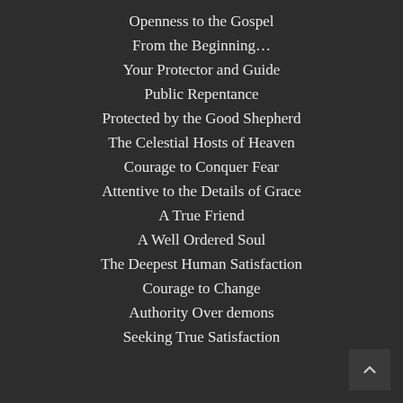Openness to the Gospel
From the Beginning…
Your Protector and Guide
Public Repentance
Protected by the Good Shepherd
The Celestial Hosts of Heaven
Courage to Conquer Fear
Attentive to the Details of Grace
A True Friend
A Well Ordered Soul
The Deepest Human Satisfaction
Courage to Change
Authority Over demons
Seeking True Satisfaction